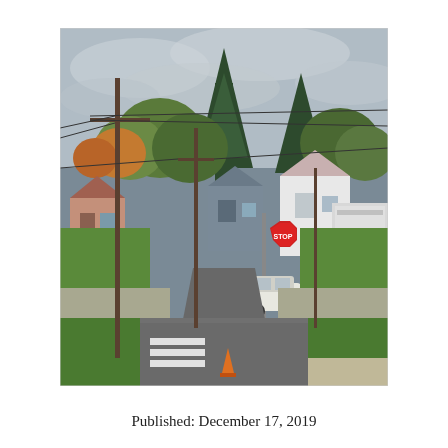[Figure (photo): Street-level photograph of a residential intersection with utility poles and power lines, green lawns, trees in autumn foliage, houses, a stop sign, a white car, and a large truck trailer on the right side. The road has white crosswalk markings.]
Published: December 17, 2019